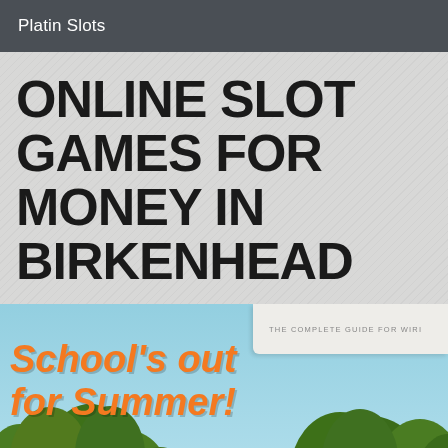Platin Slots
ONLINE SLOT GAMES FOR MONEY IN BIRKENHEAD
[Figure (illustration): Cropped magazine cover image showing green trees, blue sky background, orange bold italic text reading 'School's out for Summer!' with smaller text 'aturing loads of ideas keep the kids busy...' and a partial white paper fold in upper right corner with text 'THE COMPLETE GUIDE FOR WIRI']